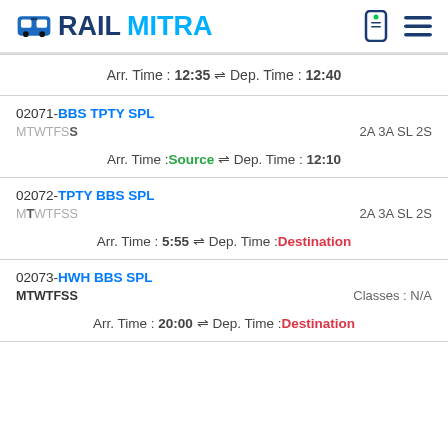RAILMITRA
Arr. Time : 12:35 ⇌ Dep. Time : 12:40
02071-BBS TPTY SPL
MTWTFSS	2A 3A SL 2S
Arr. Time : Source ⇌ Dep. Time : 12:10
02072-TPTY BBS SPL
MTWTFSS	2A 3A SL 2S
Arr. Time : 5:55 ⇌ Dep. Time : Destination
02073-HWH BBS SPL
MTWTFSS	Classes : N/A
Arr. Time : 20:00 ⇌ Dep. Time : Destination